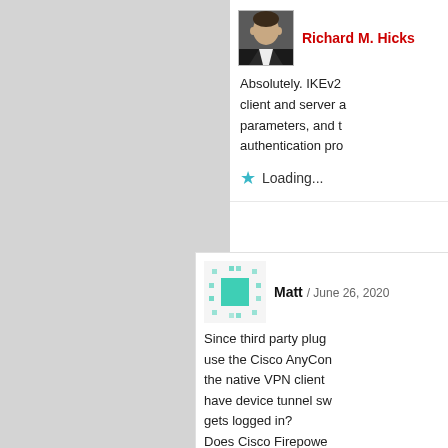[Figure (photo): Profile photo of Richard M. Hicks - a man in a suit against white background]
Richard M. Hicks
Absolutely. IKEv2 client and server a parameters, and authentication pro
Loading...
[Figure (illustration): Pixel art style avatar icon - teal/green square with dot pattern around it]
Matt / June 26, 2020
Since third party plug use the Cisco AnyCon the native VPN client have device tunnel sw gets logged in? Does Cisco Firepowe (user tunnel via plug-